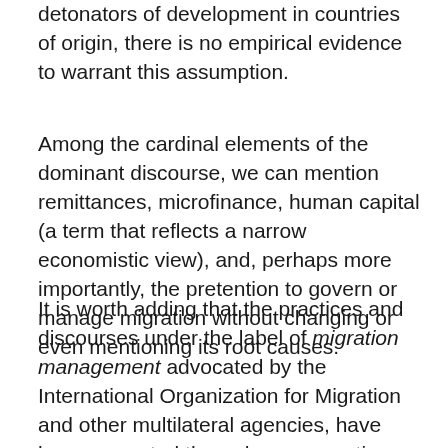detonators of development in countries of origin, there is no empirical evidence to warrant this assumption.
Among the cardinal elements of the dominant discourse, we can mention remittances, microfinance, human capital (a term that reflects a narrow economistic view), and, perhaps more importantly, the pretention to govern or manage migration without changing or even mentioning its root causes.
It is worth adding that the practices and discourses under the label of migration management advocated by the International Organization for Migration and other multilateral agencies, have been promoted through new narratives that distort reality, depoliticize migration, negate the existence of divergent interests or asymmetries of power and conflicts, and promote an unsustainable and incoherent triple-win scenario in